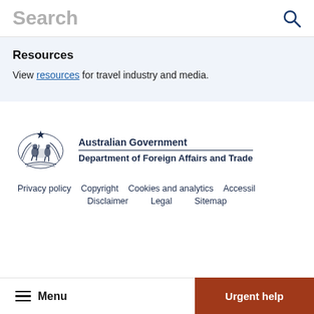Search
Resources
View resources for travel industry and media.
[Figure (logo): Australian Government Department of Foreign Affairs and Trade crest and text logo]
Privacy policy   Copyright   Cookies and analytics   Accessil   Disclaimer   Legal   Sitemap
Menu   Urgent help